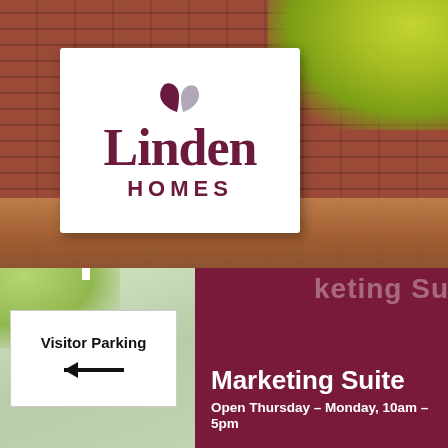[Figure (photo): Photograph of a Linden Homes branded sign mounted on a red brick wall. The white rectangular sign board displays the Linden Homes logo with decorative leaf motif above the word 'Linden' in large dark maroon serif font, and 'HOMES' in smaller bold sans-serif capitals below. Green foliage is visible in the upper-right corner. A wooden beam is visible at the bottom of the frame.]
[Figure (photo): Photograph showing two signs against a blurred outdoor background. On the left: a white rectangular sign on a post reading 'Visitor Parking' with a left-pointing arrow. On the right: a dark maroon sign reading 'Marketing Suite' with 'Open Thursday – Monday, 10am – 5pm' below in white bold text. The top portion shows a partially cropped version of the marketing suite sign with blurred text.]